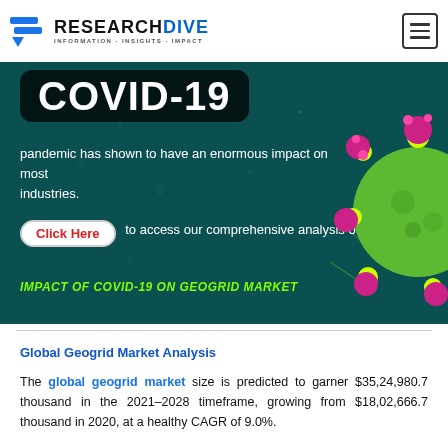RESEARCHDIVE INFORMATION-INSIGHTS-IMPACT
[Figure (photo): COVID-19 banner with teal/dark green background, COVID-19 text badge, virus illustration on right side, text about pandemic impact and Click Here button for comprehensive analysis of the IMPACT OF COVID-19 ON GEOGRID MARKET]
Global Geogrid Market Analysis
The global geogrid market size is predicted to garner $35,24,980.7 thousand in the 2021–2028 timeframe, growing from $18,02,666.7 thousand in 2020, at a healthy CAGR of 9.0%.